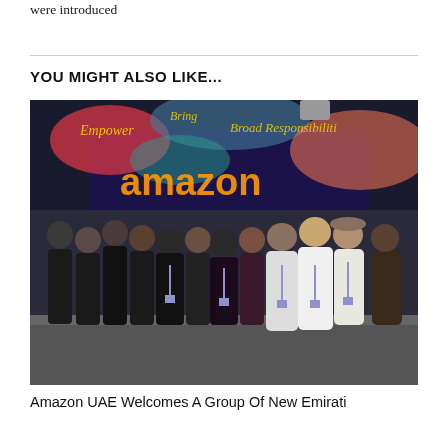were introduced
YOU MIGHT ALSO LIKE...
[Figure (photo): Group photo of people standing in front of an Amazon branded backdrop. Several women in black abayas and men in white thobes with lanyards/badges.]
Amazon UAE Welcomes A Group Of New Emirati